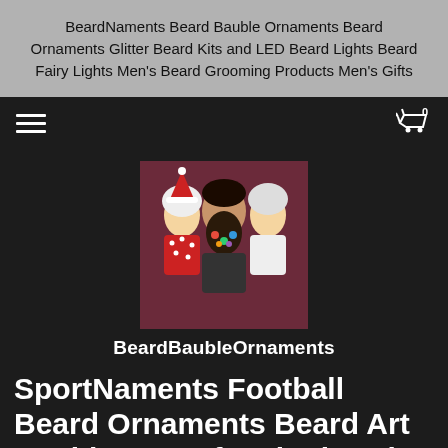BeardNaments Beard Bauble Ornaments Beard Ornaments Glitter Beard Kits and LED Beard Lights Beard Fairy Lights Men's Beard Grooming Products Men's Gifts
[Figure (screenshot): Navigation bar with hamburger menu on left, shopping cart with 0 badge on right, on dark background]
[Figure (photo): Store logo image showing a bearded man with two women, colorful ornaments in beard, on dark red background]
BeardBaubleOrnaments
SportNaments Football Beard Ornaments Beard Art Baubles Set of 9 Pittsburgh Steelers Beard Bauble Ornaments